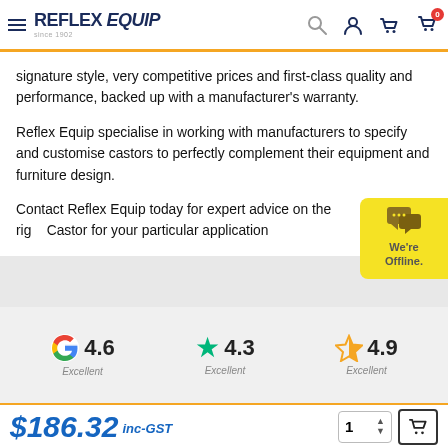Reflex Equip
signature style, very competitive prices and first-class quality and performance, backed up with a manufacturer's warranty.
Reflex Equip specialise in working with manufacturers to specify and customise castors to perfectly complement their equipment and furniture design.
Contact Reflex Equip today for expert advice on the right Castor for your particular application
[Figure (infographic): Rating icons: Google 4.6, Trustpilot star 4.3, Star outline 4.9, all labeled Excellent]
$186.32 inc-GST